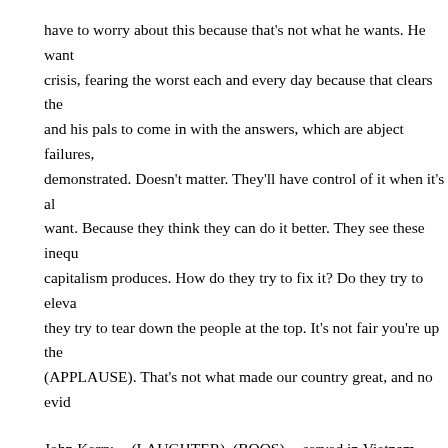have to worry about this because that's not what he wants. He want crisis, fearing the worst each and every day because that clears the and his pals to come in with the answers, which are abject failures, demonstrated. Doesn't matter. They'll have control of it when it's al want. Because they think they can do it better. They see these inequ capitalism produces. How do they try to fix it? Do they try to eleva they try to tear down the people at the top. It's not fair you're up the (APPLAUSE). That's not what made our country great, and no evid
John Kerry -- (LAUGHTER). (BOOS) -- served in Vietnam (LAUG this. And by the way, Barney Frank got involved in this, too. (LAU bank in Chicago -- by the way, which holds the mortgage to the me Tony Rezko. Northern Trust holds the mortgage. Northern Trust wa was forced, to take TARP Money. Wells Fargo CEOs said they were and they were given until 5:00 to sign it and they weren't getting ou it spread all over the banking business. Northern Trust was in there